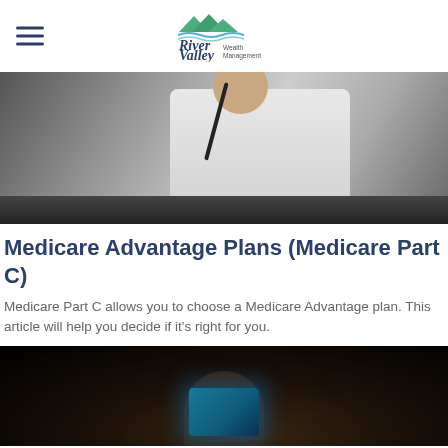River Valley Wealth Management
[Figure (photo): Photo of a doctor in a white coat with a stethoscope, seated at a desk with a laptop]
Medicare Advantage Plans (Medicare Part C)
Medicare Part C allows you to choose a Medicare Advantage plan. This article will help you decide if it's right for you.
[Figure (photo): Dark photo of a person looking at a glowing tablet screen in a dark environment]